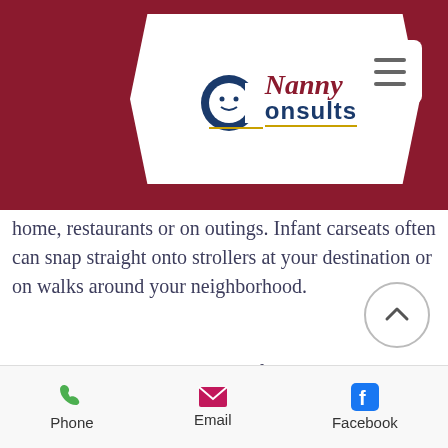[Figure (logo): Nanny Consults logo on a dark red header bar with hamburger menu button. Logo shows a white ribbon/ticket shape with 'Nanny' in red italic script and 'Consults' in dark blue bold text with a stylized C containing a baby face.]
home, restaurants or on outings. Infant carseats often can snap straight onto strollers at your destination or on walks around your neighborhood.
So what are the drawbacks? Infant seats only fit for about 1 year, give or take a couple months depending on the size of your infant. After that you need to upgrade to a convertible seat
Phone   Email   Facebook